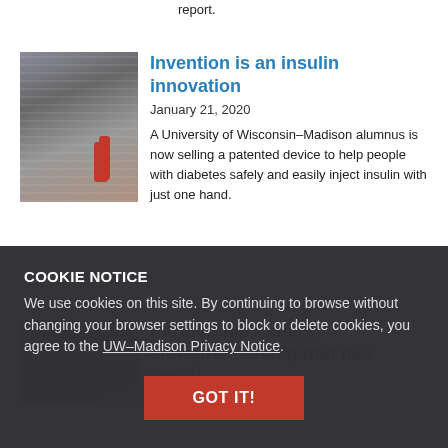report.
[Figure (photo): Person injecting insulin with one hand, a red syringe visible]
Invention is an insulin innovation
January 21, 2020
A University of Wisconsin–Madison alumnus is now selling a patented device to help people with diabetes safely and easily inject insulin with just one hand.
[Figure (photo): Portrait photo of a bald man with glasses]
Partnership fosters entrepreneurship that has social impact
COOKIE NOTICE
We use cookies on this site. By continuing to browse without changing your browser settings to block or delete cookies, you agree to the UW–Madison Privacy Notice.
GOT IT!